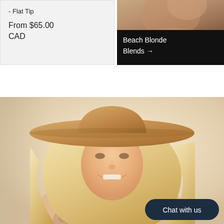- Flat Tip
From $65.00 CAD
[Figure (photo): Promotional card with dark background showing 'Beach Blonde Blends →' text overlay on a photo of blonde hair]
[Figure (photo): Large photo of a smiling blonde woman wearing a wide-brim tan hat, with long wavy blonde hair and visible tattoo on shoulder. A 'Chat with us' button overlay in dark navy appears at the bottom right.]